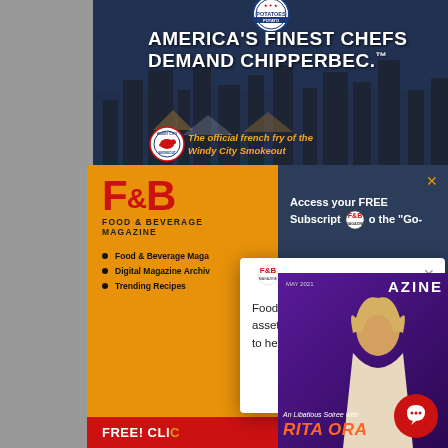[Figure (photo): Advertisement banner for Chipperbec potatoes with city skyline background, featuring text 'AMERICA'S FINEST CHEFS DEMAND CHIPPERBEC.™' and 'The official french fry of the Windy City Smokeout' with logos]
[Figure (screenshot): F&B Food & Beverage Magazine orange subscription panel with logo, menu items (Food & Beverage Magazine, Digital Magazine Archives, Trending Recipes), and FREE! Click button]
[Figure (screenshot): Dark blue panel with X close button and text 'Access your FREE Subscription to the Go-']
[Figure (screenshot): White popup modal with F&B Magazine logo, close X, and text 'Food & Beverage Magazine's asset management team is happy to help with any questions']
[Figure (screenshot): Magazine cover bottom section with Rita Ora, purple background, text 'An Libatious Soiree with RITA ORA' and 'AZINE']
[Figure (illustration): Red circular chat bubble button in bottom right corner]